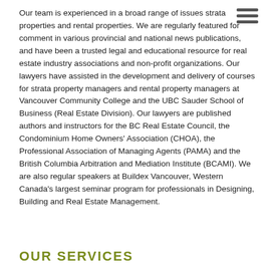Our team is experienced in a broad range of issues strata properties and rental properties. We are regularly featured for comment in various provincial and national news publications, and have been a trusted legal and educational resource for real estate industry associations and non-profit organizations. Our lawyers have assisted in the development and delivery of courses for strata property managers and rental property managers at Vancouver Community College and the UBC Sauder School of Business (Real Estate Division). Our lawyers are published authors and instructors for the BC Real Estate Council, the Condominium Home Owners' Association (CHOA), the Professional Association of Managing Agents (PAMA) and the British Columbia Arbitration and Mediation Institute (BCAMI). We are also regular speakers at Buildex Vancouver, Western Canada's largest seminar program for professionals in Designing, Building and Real Estate Management.
OUR SERVICES